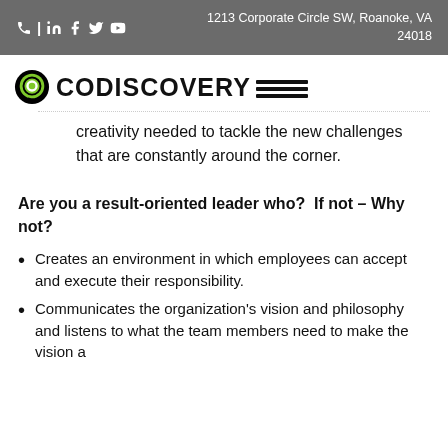| in f y ▶   1213 Corporate Circle SW, Roanoke, VA 24018
[Figure (logo): Codiscovery logo with chat bubble icon and three horizontal lines]
creativity needed to tackle the new challenges that are constantly around the corner.
Are you a result-oriented leader who?  If not – Why not?
Creates an environment in which employees can accept and execute their responsibility.
Communicates the organization's vision and philosophy and listens to what the team members need to make the vision a